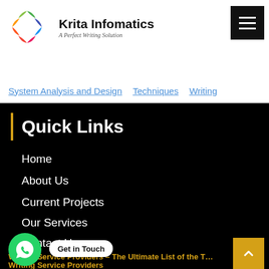Krita Infomatics — A Perfect Writing Solution
System Analysis and Design   Techniques   Writing
Quick Links
Home
About Us
Current Projects
Our Services
Contact Us
Get in Touch
Writing Service Providers – The Ultimate List of the T… Writing Service Providers